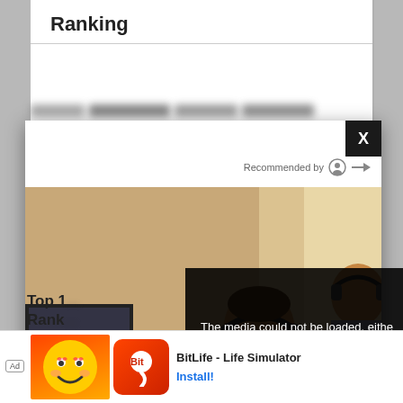Ranking
[Figure (screenshot): Modal popup with 'Recommended by' label and a photo of two people working at computers with headphones in an office. Shows 'Sponsored' label at bottom of image. A black overlay shows error text: 'The media could not be loaded, either because the server or network failed or because the format is not supported.' An X close button appears in the top-right corner of the modal. A circular X button appears to the right of the modal.]
The media could not be loaded, either because the server or network failed or because the format is not supported.
Top 1... Rank...
[Figure (screenshot): Bottom advertisement banner for BitLife - Life Simulator app with 'Ad' badge, colorful app icon, and Install button.]
BitLife - Life Simulator
Install!